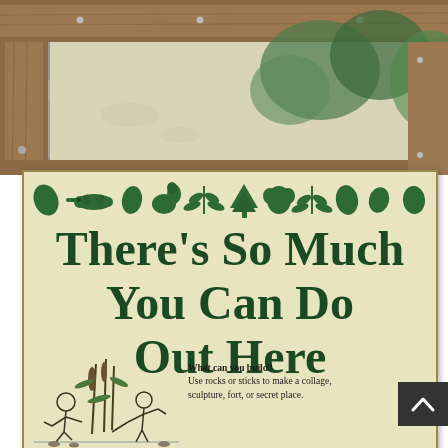[Figure (photo): Outdoor photo showing wooden frame/kiosk structure with gravel path and green foliage in background]
[Figure (illustration): Nature interpretive sign mounted on wooden kiosk with cream/tan background, green nature icons across top (leaves, caterpillar, squirrel, fern, etc.), large dark green serif text title, and line drawing of children playing outdoors]
There's So Much You Can Do Out Here
What can you build? Use rocks or sticks to make a collage, sculpture, fort, or secret place.